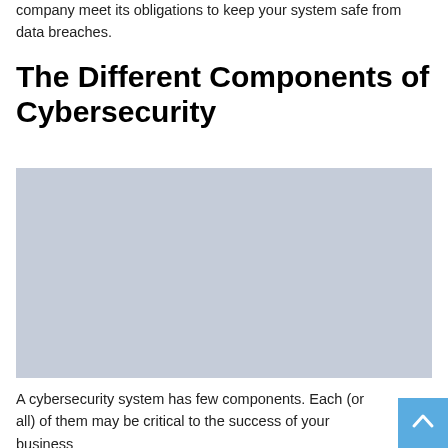company meet its obligations to keep your system safe from data breaches.
The Different Components of Cybersecurity
[Figure (other): Large light blue-grey placeholder image block representing an image related to cybersecurity components.]
A cybersecurity system has few components. Each (or all) of them may be critical to the success of your business